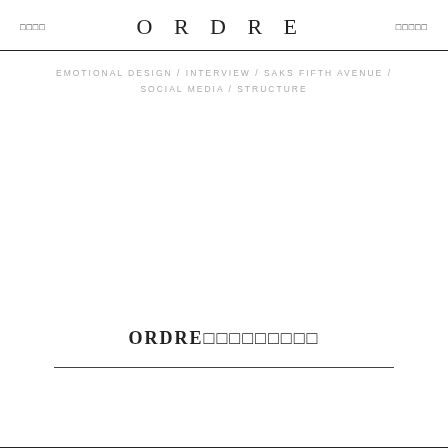□□□□   ORDRE   □□□□□
EMOTIONAL DESIGN / INTERVIEW / SAKS FIFTH AVENUE / SOCIAL MEDIA / STRUCTURE
ORDRE□□□□□□□□□□